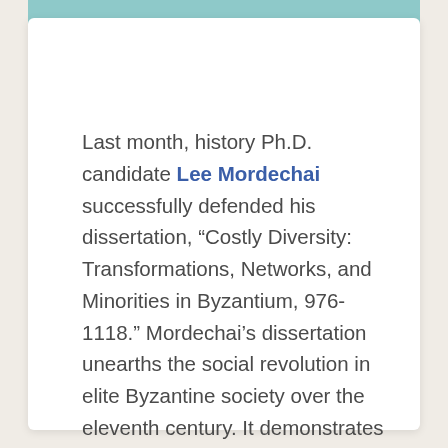Last month, history Ph.D. candidate Lee Mordechai successfully defended his dissertation, “Costly Diversity: Transformations, Networks, and Minorities in Byzantium, 976-1118.” Mordechai’s dissertation unearths the social revolution in elite Byzantine society over the eleventh century. It demonstrates that the dissolution of the old regime stems from a centralized decision to adopt an ad